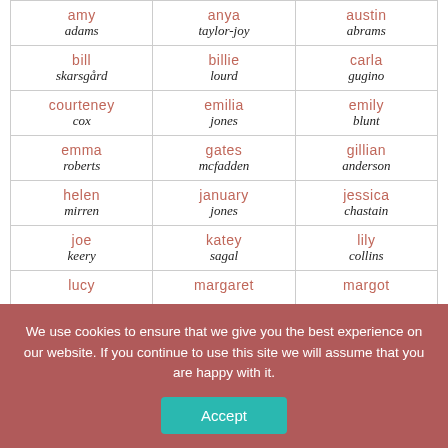| amy
adams | anya
taylor-joy | austin
abrams |
| bill
skarsgård | billie
lourd | carla
gugino |
| courteney
cox | emilia
jones | emily
blunt |
| emma
roberts | gates
mcfadden | gillian
anderson |
| helen
mirren | january
jones | jessica
chastain |
| joe
keery | katey
sagal | lily
collins |
| lucy
... | margaret
... | margot
... |
We use cookies to ensure that we give you the best experience on our website. If you continue to use this site we will assume that you are happy with it.